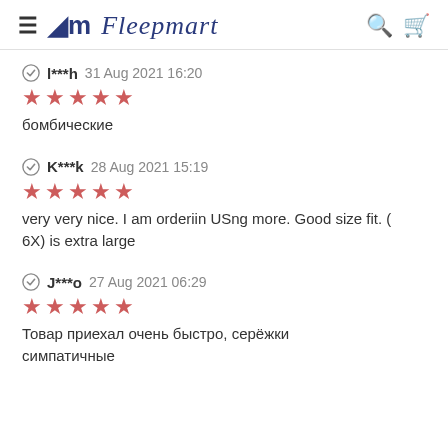Fleepmart
l***h 31 Aug 2021 16:20 ★★★★★ бомбические
K***k 28 Aug 2021 15:19 ★★★★★ very very nice. I am orderiin USng more. Good size fit. ( 6X) is extra large
J***o 27 Aug 2021 06:29 ★★★★★ Товар приехал очень быстро, серёжки симпатичные